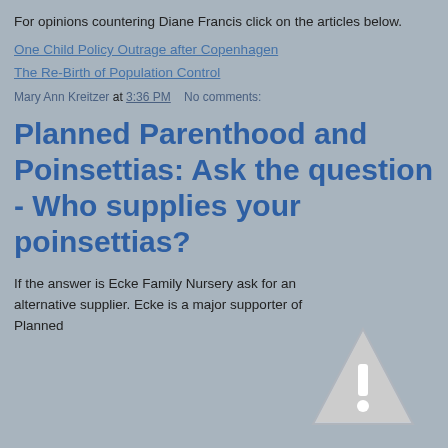For opinions countering Diane Francis click on the articles below.
One Child Policy Outrage after Copenhagen
The Re-Birth of Population Control
Mary Ann Kreitzer at 3:36 PM   No comments:
Planned Parenthood and Poinsettias: Ask the question - Who supplies your poinsettias?
If the answer is Ecke Family Nursery ask for an alternative supplier. Ecke is a major supporter of Planned